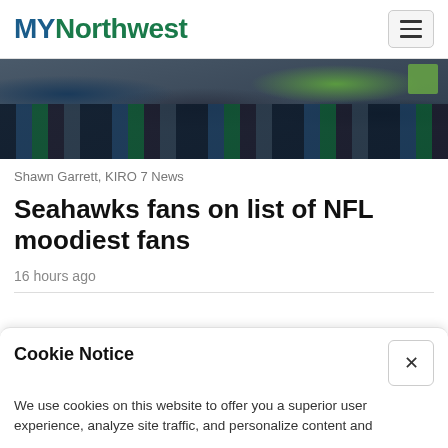MYNorthwest
[Figure (photo): Crowd of Seahawks fans in stadium stands, wearing team colors including green and navy blue]
Shawn Garrett, KIRO 7 News
Seahawks fans on list of NFL moodiest fans
16 hours ago
Cookie Notice
We use cookies on this website to offer you a superior user experience, analyze site traffic, and personalize content and